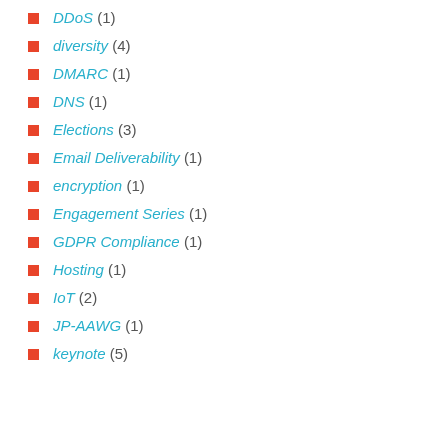DDoS (1)
diversity (4)
DMARC (1)
DNS (1)
Elections (3)
Email Deliverability (1)
encryption (1)
Engagement Series (1)
GDPR Compliance (1)
Hosting (1)
IoT (2)
JP-AAWG (1)
keynote (5)